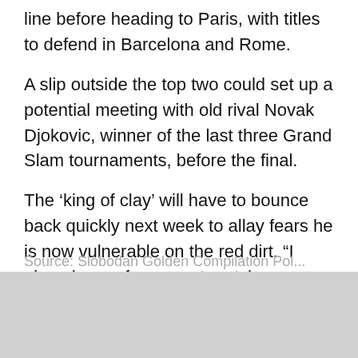line before heading to Paris, with titles to defend in Barcelona and Rome.
A slip outside the top two could set up a potential meeting with old rival Novak Djokovic, winner of the last three Grand Slam tournaments, before the final.
The ‘king of clay’ will have to bounce back quickly next week to allay fears he is now vulnerable on the red dirt. “I played one of my worst matches on clay in 14 years,” he said.
“It’s difficult to find any positives – I deserved to lose.”